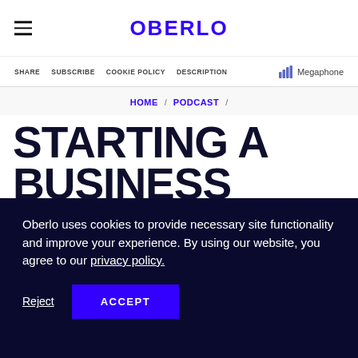OBERLO
SHARE  SUBSCRIBE  COOKIE POLICY  DESCRIPTION  Megaphone
HOME / PODCAST /
STARTING A BUSINESS INSTEAD OF GOING TO
Oberlo uses cookies to provide necessary site functionality and improve your experience. By using our website, you agree to our privacy policy.
Reject  ACCEPT